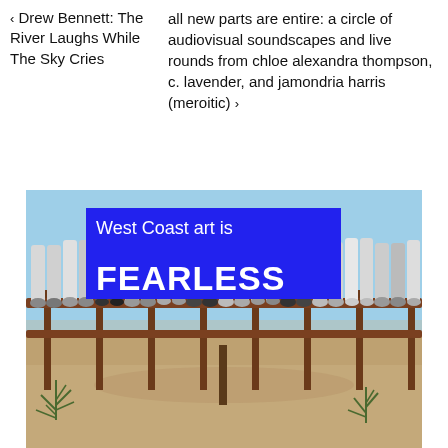← Drew Bennett: The River Laughs While The Sky Cries
all new parts are entire: a circle of audiovisual soundscapes and live rounds from chloe alexandra thompson, c. lavender, and jamondria harris (meroitic) ›
[Figure (photo): Outdoor desert scene with blue sky and sandy ground. A wooden fence rail holds many pairs of pants hanging upside down. In the upper left of the image is a blue overlay text box reading 'West Coast art is FEARLESS'. Desert plants visible in the foreground.]